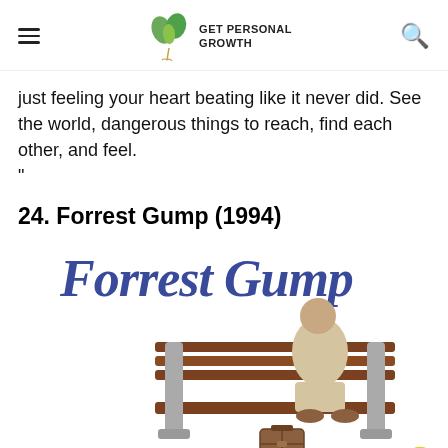GET PERSONAL GROWTH
just feeling your heart beating like it never did. See the world, dangerous things to reach, find each other, and feel. "
24. Forrest Gump (1994)
[Figure (photo): Forrest Gump movie poster showing a man sitting on a park bench from behind, with the movie title 'Forrest Gump' in large blue italic serif font at the top, and a suitcase on the ground next to the bench.]